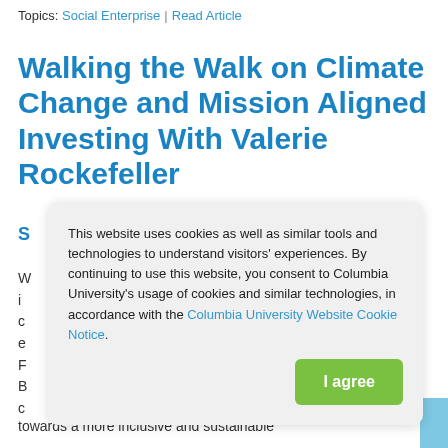Topics: Social Enterprise | Read Article
Walking the Walk on Climate Change and Mission Aligned Investing With Valerie Rockefeller
S…
W… i… c… e… F… B… c…
This website uses cookies as well as similar tools and technologies to understand visitors' experiences. By continuing to use this website, you consent to Columbia University's usage of cookies and similar technologies, in accordance with the Columbia University Website Cookie Notice.
towards a more inclusive and sustainable